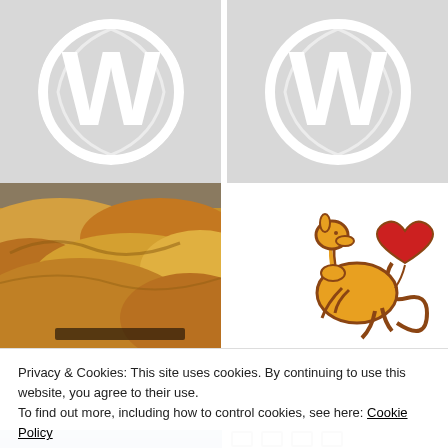[Figure (logo): WordPress logo (W in circle) on grey background, left panel]
[Figure (logo): WordPress logo (W in circle) on grey background, right panel]
[Figure (photo): Desert sand dunes with camels in the distance]
[Figure (illustration): Yellow kangaroo with red heart illustration on white background]
Privacy & Cookies: This site uses cookies. By continuing to use this website, you agree to their use.
To find out more, including how to control cookies, see here: Cookie Policy
[Figure (photo): Partial view of photo at bottom left (person/animal, blue tones)]
[Figure (screenshot): Partial icons/symbols visible at bottom right]